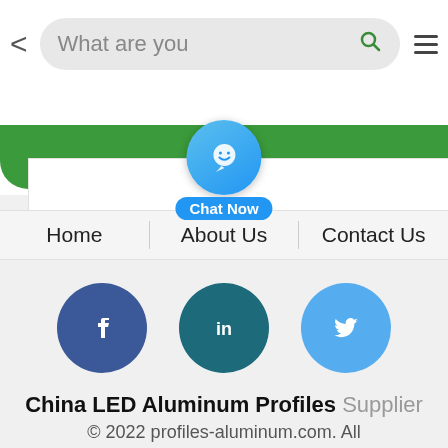[Figure (screenshot): Mobile website screenshot showing a search bar with back arrow, green CTA buttons partially visible, a blue chat bubble with 'Chat Now' label, navigation links (Home, About Us, Contact Us), social media icons (Facebook, LinkedIn, Twitter), and footer text for China LED Aluminum Profiles Supplier website.]
What are you
Home | About Us | Contact Us
Chat Now
China LED Aluminum Profiles Supplier
© 2022 profiles-aluminum.com. All Reserved. Developed by ECE